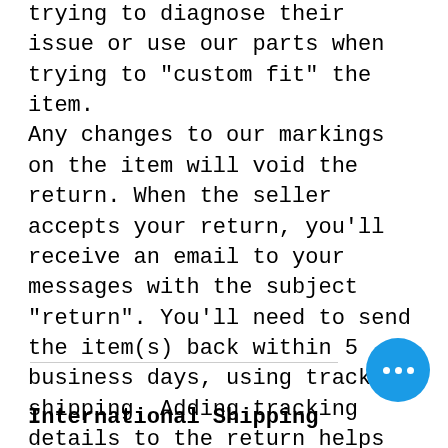trying to diagnose their issue or use our parts when trying to "custom fit" the item. Any changes to our markings on the item will void the return. When the seller accepts your return, you'll receive an email to your messages with the subject "return". You'll need to send the item(s) back within 5 business days, using tracked shipping. Adding tracking details to the return helps protect against delays or issues in the refund process. A return must be requested within 5 days of receiving the part.
International Shipping